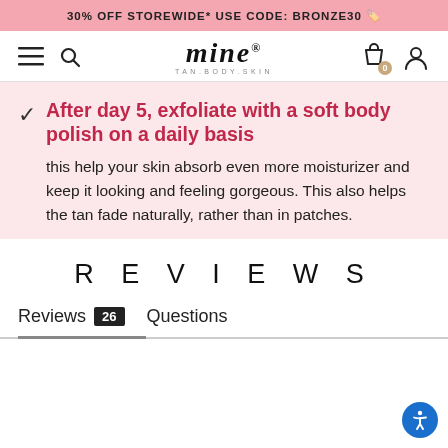30% OFF STOREWIDE* USE CODE: BRONZE30 🏷️
[Figure (logo): mine TAN.BODY.SKIN logo with hamburger menu, search, bag (0), and user icons]
After day 5, exfoliate with a soft body polish on a daily basis — this help your skin absorb even more moisturizer and keep it looking and feeling gorgeous. This also helps the tan fade naturally, rather than in patches.
REVIEWS
Reviews 26   Questions